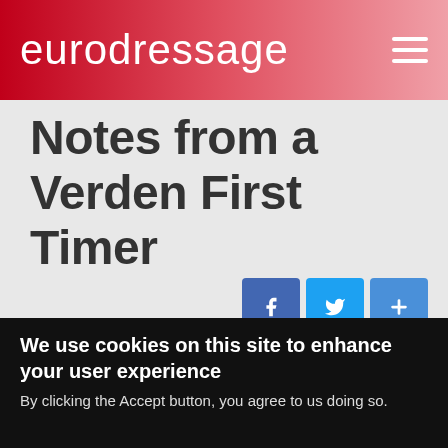eurodressage
Notes from a Verden First Timer
Wed, 08/10/2011 - 15:24
Shows
Privacy settings
2011 World Champio... ressage Horses
We use cookies on this site to enhance your user experience
By clicking the Accept button, you agree to us doing so.